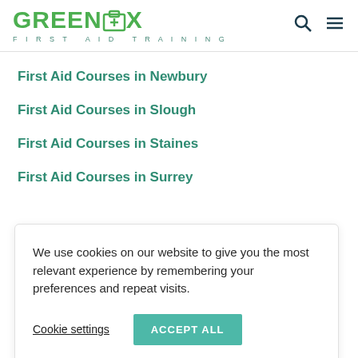GREENBOX FIRST AID TRAINING
First Aid Courses in Newbury
First Aid Courses in Slough
First Aid Courses in Staines
First Aid Courses in Surrey
We use cookies on our website to give you the most relevant experience by remembering your preferences and repeat visits.
Cookie settings   ACCEPT ALL